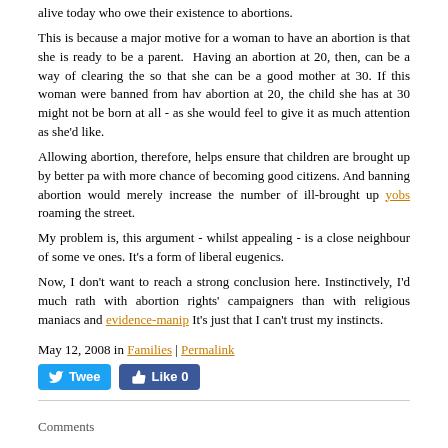alive today who owe their existence to abortions.
This is because a major motive for a woman to have an abortion is that she is ready to be a parent. Having an abortion at 20, then, can be a way of clearing the so that she can be a good mother at 30. If this woman were banned from hav abortion at 20, the child she has at 30 might not be born at all - as she would feel to give it as much attention as she'd like.
Allowing abortion, therefore, helps ensure that children are brought up by better pa with more chance of becoming good citizens. And banning abortion would merely increase the number of ill-brought up yobs roaming the street.
My problem is, this argument - whilst appealing - is a close neighbour of some ve ones. It's a form of liberal eugenics.
Now, I don't want to reach a strong conclusion here. Instinctively, I'd much rath with abortion rights' campaigners than with religious maniacs and evidence-manip It's just that I can't trust my instincts.
May 12, 2008 in Families | Permalink
[Figure (other): Tweet button and Like 0 Facebook button]
Comments
[Figure (illustration): Teal/green decorative avatar image with leaf/feather pattern]
People mourn miscarriages, but they also mourn hysterectomies, and o interventions that will stop them having children in the future. I love m for what they are, but my love for them is also bound up with what the